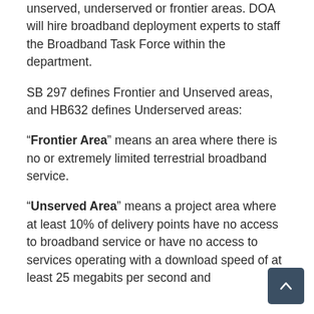unserved, underserved or frontier areas. DOA will hire broadband deployment experts to staff the Broadband Task Force within the department.
SB 297 defines Frontier and Unserved areas, and HB632 defines Underserved areas:
"Frontier Area" means an area where there is no or extremely limited terrestrial broadband service.
"Unserved Area" means a project area where at least 10% of delivery points have no access to broadband service or have no access to services operating with a download speed of at least 25 megabits per second and